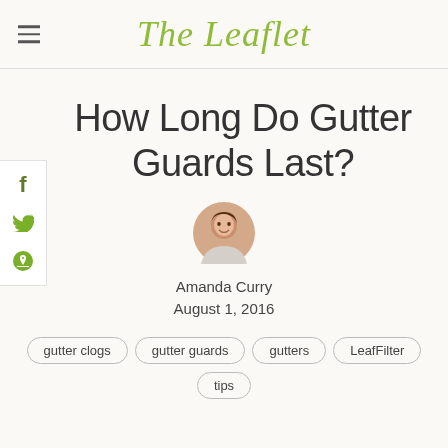The Leaflet
How Long Do Gutter Guards Last?
[Figure (photo): Circular author photo of Amanda Curry, a woman smiling, brown hair]
Amanda Curry
August 1, 2016
gutter clogs
gutter guards
gutters
LeafFilter
tips